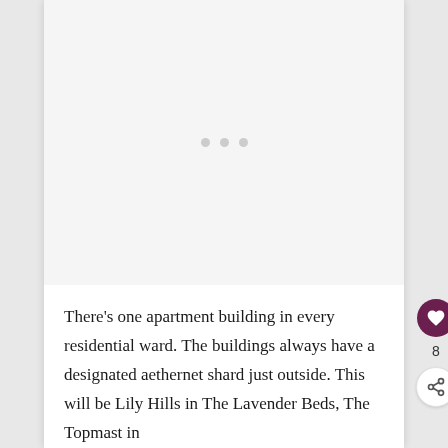[Figure (other): Empty image loading area with three grey dots indicating a loading state]
There's one apartment building in every residential ward. The buildings always have a designated aethernet shard just outside. This will be Lily Hills in The Lavender Beds, The Topmast in